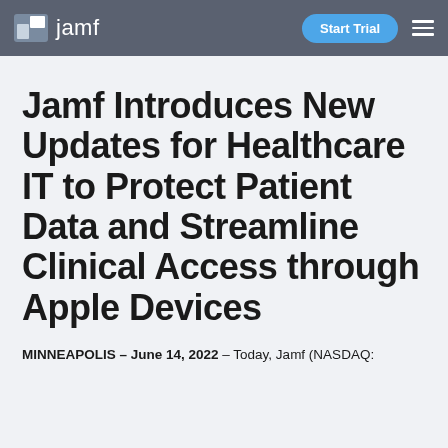jamf | Start Trial
Jamf Introduces New Updates for Healthcare IT to Protect Patient Data and Streamline Clinical Access through Apple Devices
MINNEAPOLIS – June 14, 2022 – Today, Jamf (NASDAQ: